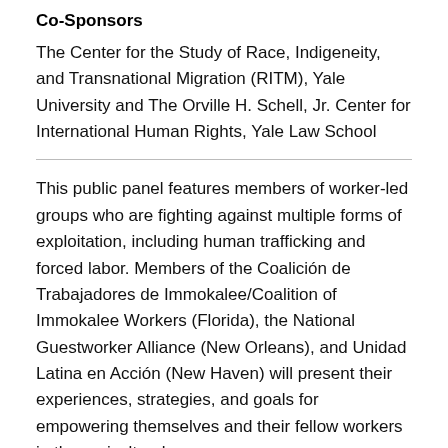Co-Sponsors
The Center for the Study of Race, Indigeneity, and Transnational Migration (RITM), Yale University and The Orville H. Schell, Jr. Center for International Human Rights, Yale Law School
This public panel features members of worker-led groups who are fighting against multiple forms of exploitation, including human trafficking and forced labor. Members of the Coalición de Trabajadores de Immokalee/Coalition of Immokalee Workers (Florida), the National Guestworker Alliance (New Orleans), and Unidad Latina en Acción (New Haven) will present their experiences, strategies, and goals for empowering themselves and their fellow workers in the agricultural, seafood, and service industries, often for tips, to...